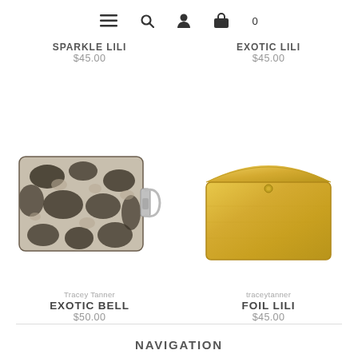≡  🔍  👤  🛍 0
SPARKLE LILI
$45.00
EXOTIC LILI
$45.00
[Figure (photo): Snake-print leather clutch with silver carabiner clip keychain]
[Figure (photo): Gold foil leather envelope-style pouch with snap button closure]
Tracey Tanner
EXOTIC BELL
$50.00
traceytanner
FOIL LILI
$45.00
NAVIGATION